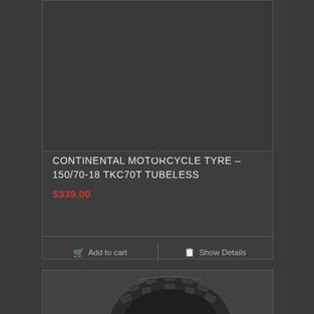[Figure (photo): Dark product image area for Continental motorcycle tyre, top portion of e-commerce product card with dark background]
CONTINENTAL MOTORCYCLE TYRE – 150/70-18 TKC70T TUBELESS
$339.00
Add to cart
Show Details
[Figure (photo): Partial view of a motorcycle tyre tread pattern, partially visible at bottom of page]